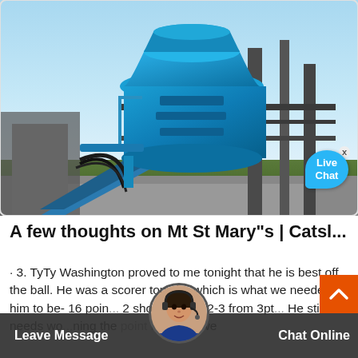[Figure (photo): Industrial machinery photo showing a large blue cone crusher or similar mining/construction equipment mounted on a steel frame structure, with a blue sky and green field in the background. A live chat bubble overlay appears in the lower right corner.]
A few thoughts on Mt St Mary"s | Catsl...
· 3. TyTy Washington proved to me tonight that he is best off the ball. He was a scorer tonight, which is what we needed him to be- 16 poin[ts on ...] 2 shooting and 2-3 from 3pt [range]. He still needs wo[rking on] ning the [point because we